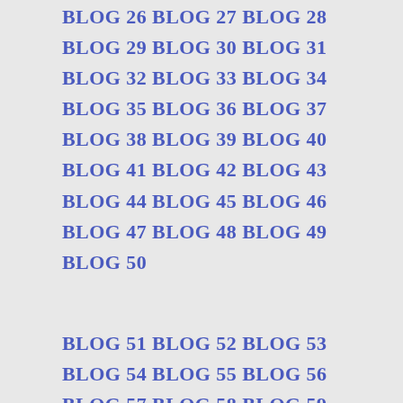BLOG 26 BLOG 27 BLOG 28
BLOG 29 BLOG 30 BLOG 31
BLOG 32 BLOG 33 BLOG 34
BLOG 35 BLOG 36 BLOG 37
BLOG 38 BLOG 39 BLOG 40
BLOG 41 BLOG 42 BLOG 43
BLOG 44 BLOG 45 BLOG 46
BLOG 47 BLOG 48 BLOG 49
BLOG 50
BLOG 51 BLOG 52 BLOG 53
BLOG 54 BLOG 55 BLOG 56
BLOG 57 BLOG 58 BLOG 59
BLOG 60 BLOG 61 BLOG 62
BLOG 63 BLOG 64 BLOG 65
BLOG 66 BLOG 67 BLOG 68